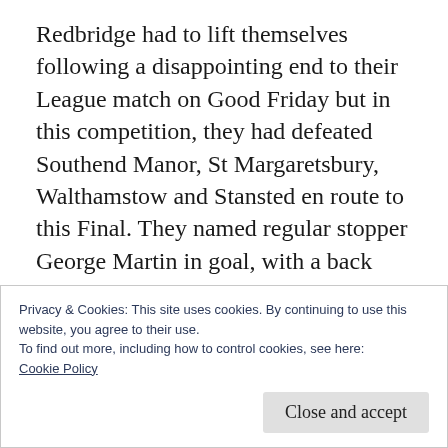Redbridge had to lift themselves following a disappointing end to their League match on Good Friday but in this competition, they had defeated Southend Manor, St Margaretsbury, Walthamstow and Stansted en route to this Final. They named regular stopper George Martin in goal, with a back four of Bradley Bennett, skipper Jack Roult plus centre-backs Dean Hall and Nathan Okoye. Tony Martin led the forward line, alongside Ibrahim Kehinde and Timothy Ogunrinde, Jerold Cobblah and
Privacy & Cookies: This site uses cookies. By continuing to use this website, you agree to their use.
To find out more, including how to control cookies, see here:
Cookie Policy